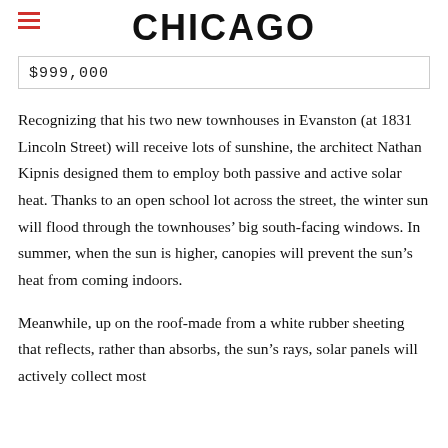CHICAGO
$999,000
Recognizing that his two new townhouses in Evanston (at 1831 Lincoln Street) will receive lots of sunshine, the architect Nathan Kipnis designed them to employ both passive and active solar heat. Thanks to an open school lot across the street, the winter sun will flood through the townhouses’ big south-facing windows. In summer, when the sun is higher, canopies will prevent the sun’s heat from coming indoors.
Meanwhile, up on the roof-made from a white rubber sheeting that reflects, rather than absorbs, the sun’s rays, solar panels will actively collect most